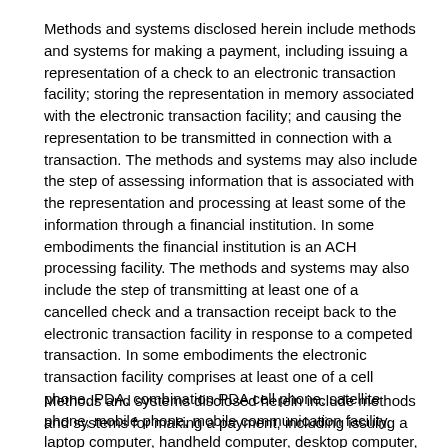Methods and systems disclosed herein include methods and systems for making a payment, including issuing a representation of a check to an electronic transaction facility; storing the representation in memory associated with the electronic transaction facility; and causing the representation to be transmitted in connection with a transaction. The methods and systems may also include the step of assessing information that is associated with the representation and processing at least some of the information through a financial institution. In some embodiments the financial institution is an ACH processing facility. The methods and systems may also include the step of transmitting at least one of a cancelled check and a transaction receipt back to the electronic transaction facility in response to a competed transaction. In some embodiments the electronic transaction facility comprises at least one of a cell phone, PDA, combination PDA cell phone, satellite phone, mobile phone, mobile communication facility, laptop computer, handheld computer, desktop computer, and a computer.
Methods and systems disclosed herein include methods and systems for making a payment, including issuing a